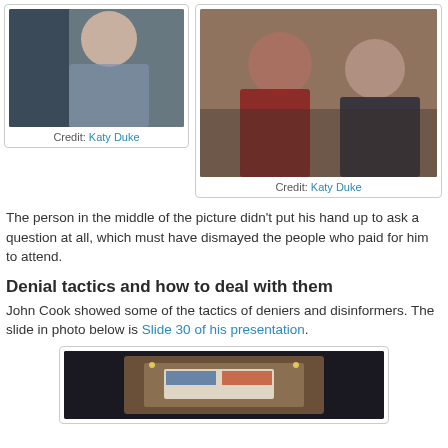[Figure (photo): Photo of a person from behind, wearing a blue patterned top, seated]
Credit: Katy Duke
[Figure (photo): Photo of people seated at a table in a room, one person in a red shirt, another in a dark jacket]
Credit: Katy Duke
The person in the middle of the picture didn't put his hand up to ask a question at all, which must have dismayed the people who paid for him to attend.
Denial tactics and how to deal with them
John Cook showed some of the tactics of deniers and disinformers. The slide in photo below is Slide 30 of his presentation.
[Figure (photo): Photo of a presentation screen in a darkened auditorium showing a slide with charts]